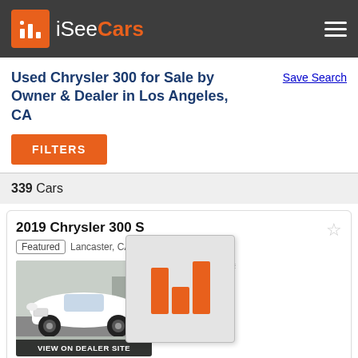iSeeCars
Used Chrysler 300 for Sale by Owner & Dealer in Los Angeles, CA
Save Search
FILTERS
339 Cars
2019 Chrysler 300 S
Featured | Lancaster, CA - Listed
$115 Above Market
$28,998
39,370 mi
dealer rating
[Figure (bar-chart): Orange bar chart icon showing three bars of varying heights on gray background]
2020 Chrysler 300 S